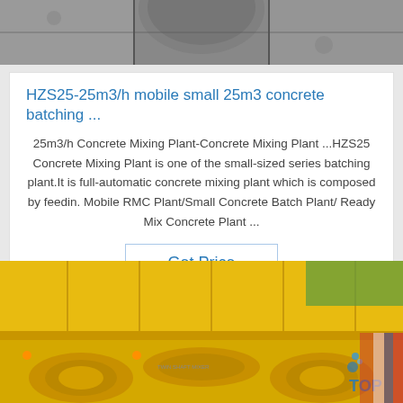[Figure (photo): Top portion of a concrete surface or block viewed from above, partially cropped at the top of the page]
HZS25-25m3/h mobile small 25m3 concrete batching ...
25m3/h Concrete Mixing Plant-Concrete Mixing Plant ...HZS25 Concrete Mixing Plant is one of the small-sized series batching plant.It is full-automatic concrete mixing plant which is composed by feedin. Mobile RMC Plant/Small Concrete Batch Plant/ Ready Mix Concrete Plant ...
Get Price
[Figure (photo): Industrial yellow concrete mixing machine with twin horizontal shafts, motors visible, photographed in a factory setting with a 'TOP' watermark in the bottom right corner]